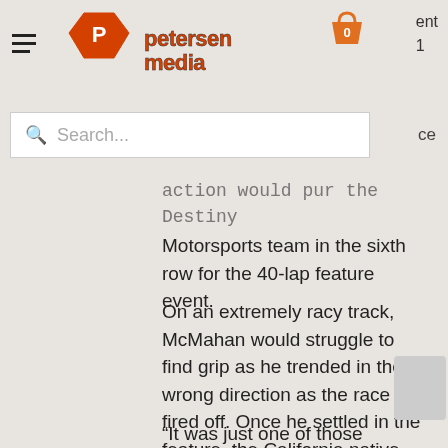Petersen Media
action would put the Destiny Motorsports team in the sixth row for the 40-lap feature event.
On an extremely racy track, McMahan would struggle to find grip as he trended in the wrong direction as the race fired off. Once he settled in the feature, the California native would pick up a few positions as the race moved along, but was unable to find his way inside the Top-10 as he worked back into the 14th spot.
“It was just one of those weekends